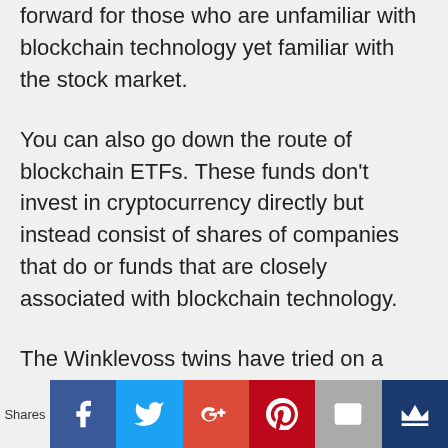forward for those who are unfamiliar with blockchain technology yet familiar with the stock market.
You can also go down the route of blockchain ETFs. These funds don't invest in cryptocurrency directly but instead consist of shares of companies that do or funds that are closely associated with blockchain technology.
The Winklevoss twins have tried on a number of occasions to get the SEC to pass the green light on a cryptocurrency ETF that can hold cryptocurrency directly.
[Figure (other): Social share bar with buttons for Facebook, Twitter, Google+, Pinterest, Email, and a crown/bookmark icon. Left side shows 'Shares' label.]